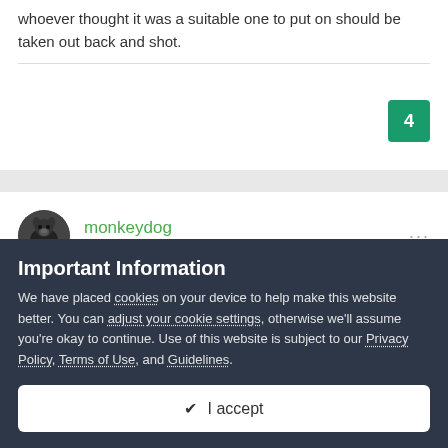whoever thought it was a suitable one to put on should be taken out back and shot.
monkeydog
Posted September 9, 2020
Important Information
We have placed cookies on your device to help make this website better. You can adjust your cookie settings, otherwise we'll assume you're okay to continue. Use of this website is subject to our Privacy Policy, Terms of Use, and Guidelines.
✔ I accept